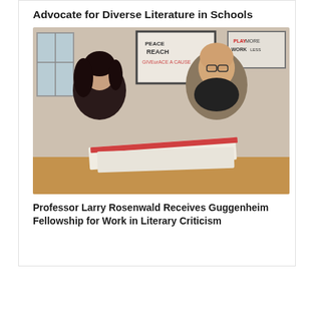Advocate for Diverse Literature in Schools
[Figure (photo): Two people sitting at a table in conversation — a woman with dark hair on the left and an older bald man wearing glasses and a grey blazer on the right. Books and binders are on the table. Posters hang on the wall behind them.]
Professor Larry Rosenwald Receives Guggenheim Fellowship for Work in Literary Criticism